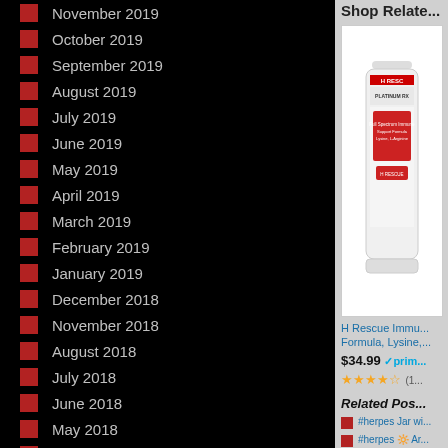November 2019
October 2019
September 2019
August 2019
July 2019
June 2019
May 2019
April 2019
March 2019
February 2019
January 2019
December 2018
November 2018
August 2018
July 2018
June 2018
May 2018
April 2018
Shop Relate...
[Figure (photo): H Rescue Immune supplement bottle product photo]
H Rescue Immu... Formula, Lysine,...
$34.99
Related Pos...
#herpes Jar wi...
#herpes 🔆 Ar...
#herpes Red D...
tom44